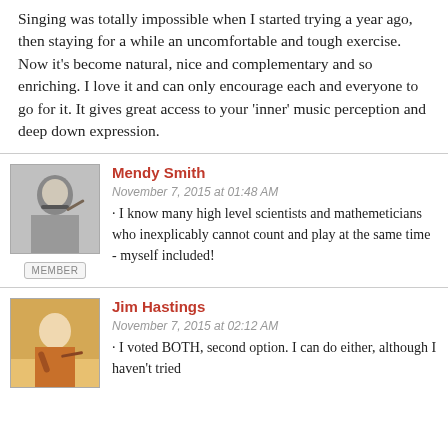Singing was totally impossible when I started trying a year ago, then staying for a while an uncomfortable and tough exercise. Now it's become natural, nice and complementary and so enriching. I love it and can only encourage each and everyone to go for it. It gives great access to your 'inner' music perception and deep down expression.
Mendy Smith
November 7, 2015 at 01:48 AM · I know many high level scientists and mathemeticians who inexplicably cannot count and play at the same time - myself included!
Jim Hastings
November 7, 2015 at 02:12 AM · I voted BOTH, second option. I can do either, although I haven't tried